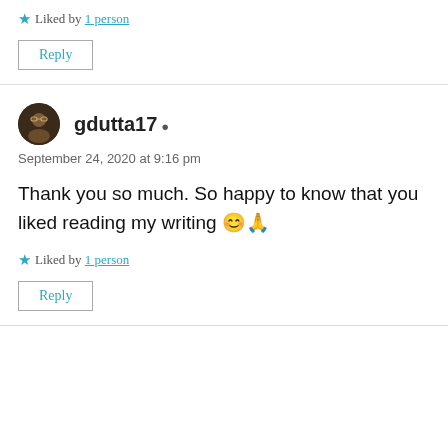Liked by 1 person
Reply
gdutta17 — September 24, 2020 at 9:16 pm
Thank you so much. So happy to know that you liked reading my writing 😊🙏
Liked by 1 person
Reply